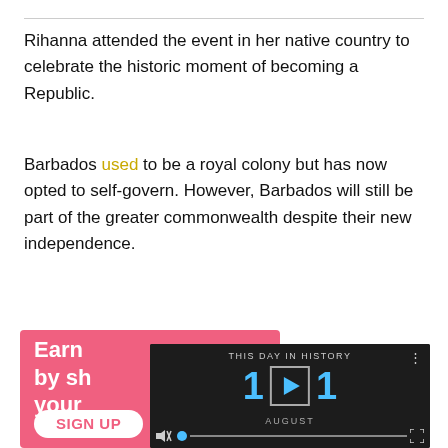Rihanna attended the event in her native country to celebrate the historic moment of becoming a Republic.
Barbados used to be a royal colony but has now opted to self-govern. However, Barbados will still be part of the greater commonwealth despite their new independence.
[Figure (screenshot): A composite image showing a pink advertisement banner on the left with text 'Earn by sh[aring] your [opinion]' and a SIGN UP button, overlapped by a video player showing 'THIS DAY IN HISTORY' with a play button and the number 11 AUGUST, with playback controls.]